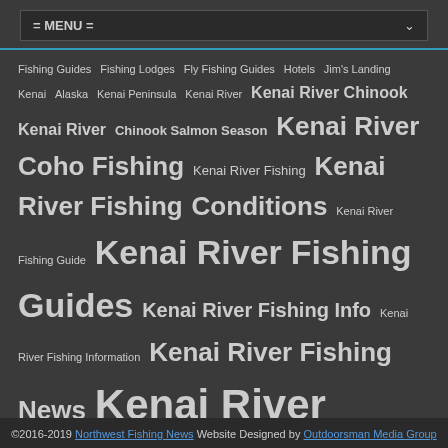= MENU =
Fishing Guides  Fishing Lodges  Fly Fishing Guides  Hotels  Jim's Landing  Kenai Alaska  Kenai Peninsula  Kenai River  Kenai River Chinook  Kenai River Chinook Salmon Season  Kenai River Coho Fishing  Kenai River Fishing  Kenai River Fishing Conditions  Kenai River Fishing Guide  Kenai River Fishing Guides  Kenai River Fishing Info  Kenai River Fishing Information  Kenai River Fishing News  Kenai River Fishing Report  Kenai River Fishing Updates  Kenai River King Salmon  Kenai River salmon fishery  Kenai River Sockeye  Kenia River Fishing Report  Lodging  Rainbow Trout  Russian River  Sockeye  Sockeye Fishing  Soldotna Alaska  Sportsman's Landing
©2016-2019 Northwest Fishing News Website Designed by Outdoorsman Media Group